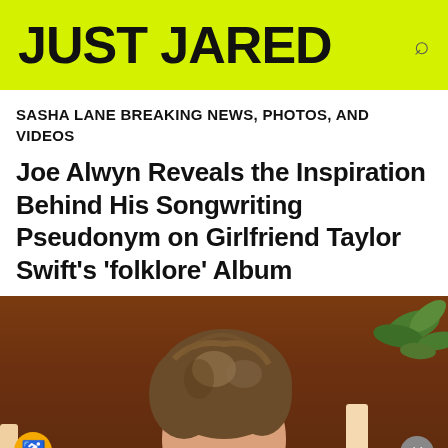JUST JARED
SASHA LANE BREAKING NEWS, PHOTOS, AND VIDEOS
Joe Alwyn Reveals the Inspiration Behind His Songwriting Pseudonym on Girlfriend Taylor Swift’s ‘folklore’ Album
[Figure (photo): Photo of Joe Alwyn from the shoulders up, showing his brown hair, with a wood-paneled background and green plant visible. A candle is visible to the right.]